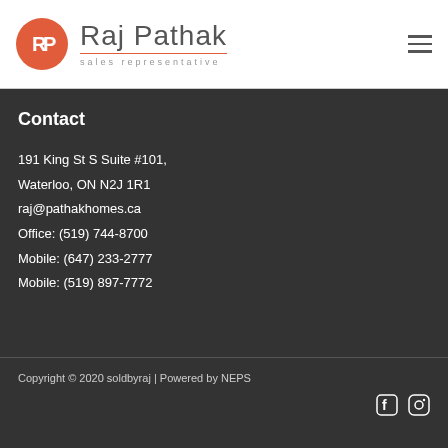[Figure (logo): Raj Pathak sales representative logo with orange circle containing R-P monogram and name text with underline]
Contact
191 King St S Suite #101,
Waterloo, ON N2J 1R1
raj@pathakhomes.ca
Office: (519) 744-8700
Mobile: (647) 233-2777
Mobile: (519) 897-7772
Copyright © 2020 soldbyraj | Powered by NEPS